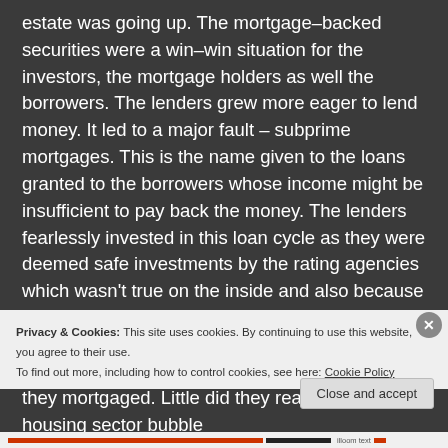estate was going up. The mortgage-backed securities were a win-win situation for the investors, the mortgage holders as well the borrowers. The lenders grew more eager to lend money. It led to a major fault – subprime mortgages. This is the name given to the loans granted to the borrowers whose income might be insufficient to pay back the money. The lenders fearlessly invested in this loan cycle as they were deemed safe investments by the rating agencies which wasn't true on the inside and also because they were under the illusion that even if the borrowers defaulted on their loan, they would have the documents of the house against which they mortgaged. Little did they realize that the housing sector bubble
Privacy & Cookies: This site uses cookies. By continuing to use this website, you agree to their use.
To find out more, including how to control cookies, see here: Cookie Policy
Close and accept